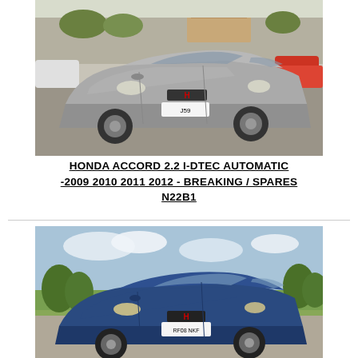[Figure (photo): Silver Honda Accord sedan parked in a gravel car park, front three-quarter view, registration plate partially visible (J59), trees and buildings in background.]
HONDA ACCORD 2.2 I-DTEC AUTOMATIC -2009 2010 2011 2012 - BREAKING / SPARES N22B1
[Figure (photo): Blue Honda Accord sedan parked on a road with green fields and trees in background, front three-quarter view, registration plate partially visible.]